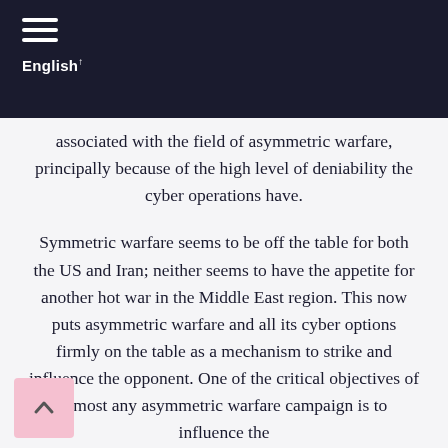English
associated with the field of asymmetric warfare, principally because of the high level of deniability the cyber operations have.
Symmetric warfare seems to be off the table for both the US and Iran; neither seems to have the appetite for another hot war in the Middle East region. This now puts asymmetric warfare and all its cyber options firmly on the table as a mechanism to strike and influence the opponent. One of the critical objectives of almost any asymmetric warfare campaign is to influence the